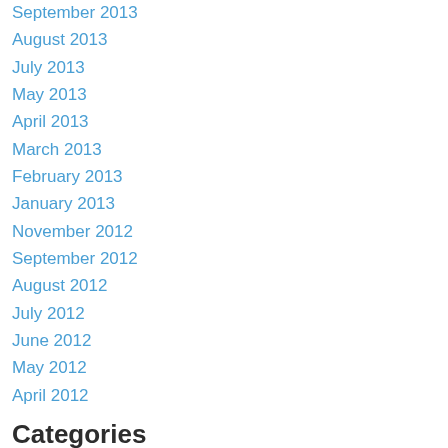September 2013
August 2013
July 2013
May 2013
April 2013
March 2013
February 2013
January 2013
November 2012
September 2012
August 2012
July 2012
June 2012
May 2012
April 2012
Categories
All
2013 Melee Go Round
2013 Melee-go-round
2014 NEW Terrain